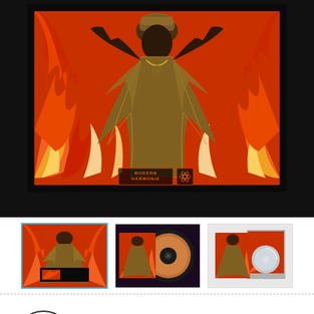[Figure (photo): Album cover art for 'Saturnian Queen Of The Sun Ra Arkestra' by June Tyson. Shows a figure in gold/silver sequined robes with arms raised against a stylized orange and red flame background. Modern Harmonie label badge visible at bottom.]
[Figure (photo): Three thumbnail images of album packaging: first thumbnail (selected with blue border) shows LP cover art, second shows vinyl record with cover, third shows CD box set.]
Saturnian Queen Of The Sun Ra Arkestra
by June Tyson
11. Never Never Land